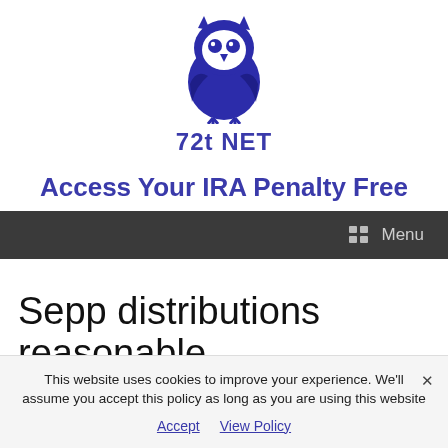[Figure (logo): 72t NET owl logo — a blue owl icon above the text '72t NET' in dark blue/purple]
Access Your IRA Penalty Free
Menu
Sepp distributions reasonable
This website uses cookies to improve your experience. We'll assume you accept this policy as long as you are using this website
Accept   View Policy